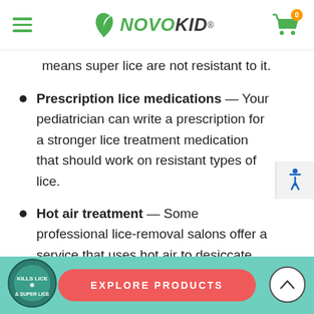NOVOKID
means super lice are not resistant to it.
Prescription lice medications — Your pediatrician can write a prescription for a stronger lice treatment medication that should work on resistant types of lice.
Hot air treatment — Some professional lice-removal salons offer a service that uses hot air to desiccate the insects and nits. Many ons follow the air with a thick serum and
EXPLORE PRODUCTS